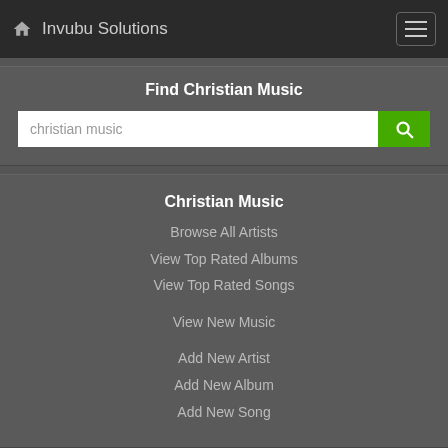Invubu Solutions
Find Christian Music
christian music [search input]
Christian Music
Browse All Artists
View Top Rated Albums
View Top Rated Songs
View New Music
Add New Artist
Add New Album
Add New Song
[Figure (screenshot): Blue banner with the word 'music' in white italic text]